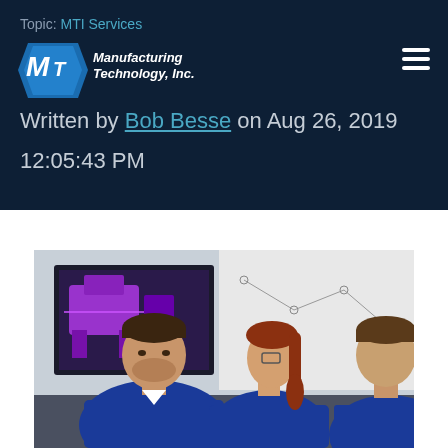Topic: MTI Services
Written by Bob Besse on Aug 26, 2019 12:05:43 PM
[Figure (photo): Three engineers in blue polos seated at a table reviewing a 3D CAD model displayed on a screen behind them. One man faces the camera, a woman with a ponytail is in the center, and another man faces away on the right.]